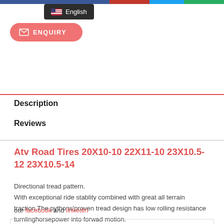[Figure (other): Top navigation bar with colored segments (blue, red, cyan, green) and a language selector dropdown showing English with US flag, plus an ENQUIRY button in salmon/coral color]
Description
Reviews
Atv Road Tires 20X10-10 22X11-10 23X10.5-12 23X10.5-14
Directional tread pattern.
With exceptional ride stablity combined with great all terrain traction.The pythons'proven tread design has low rolling resistance turnlinghorsepower into forwad motion.
our facebook and linkedin